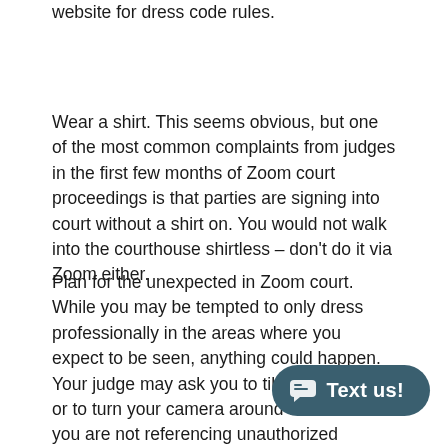website for dress code rules.
Wear a shirt. This seems obvious, but one of the most common complaints from judges in the first few months of Zoom court proceedings is that parties are signing into court without a shirt on. You would not walk into the courthouse shirtless – don't do it via Zoom either.
Plan for the unexpected in Zoom court. While you may be tempted to only dress professionally in the areas where you expect to be seen, anything could happen. Your judge may ask you to tilt your camera or to turn your camera around to show that you are not referencing unauthorized documents, that you don't have unpermitted persons present, or that you don't have an unauthorized communication device in fr... What if you drop your phone? What if you n... up for some reason? Even if you don't expect your pants